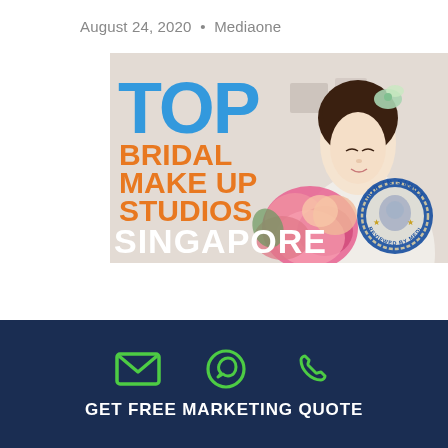August 24, 2020  •  Mediaone
[Figure (illustration): Promotional banner image for Top Bridal Make Up Studios Singapore. Left side has large bold text: 'TOP' in blue, 'BRIDAL MAKE UP STUDIOS' in orange, 'SINGAPORE' in white. Right side shows a young Asian woman in bridal attire holding pink flowers, with a 'Top in Singapore Reviewed by Mediaone' badge/seal in the lower right.]
[Figure (infographic): Dark navy blue bar at the bottom with three green icons (email envelope, WhatsApp logo, phone handset) and white bold text reading 'GET FREE MARKETING QUOTE']